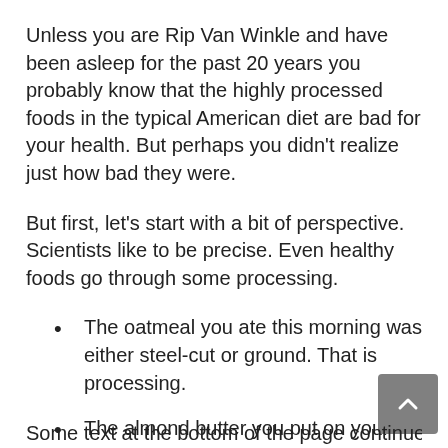Unless you are Rip Van Winkle and have been asleep for the past 20 years you probably know that the highly processed foods in the typical American diet are bad for your health. But perhaps you didn't realize just how bad they were.
But first, let's start with a bit of perspective. Scientists like to be precise. Even healthy foods go through some processing.
The oatmeal you ate this morning was either steel-cut or ground. That is processing.
The almond butter you put on your whole grain toast this morning was made by roasting and grinding. That is processing.
Some cut-off text at the bottom of the page...